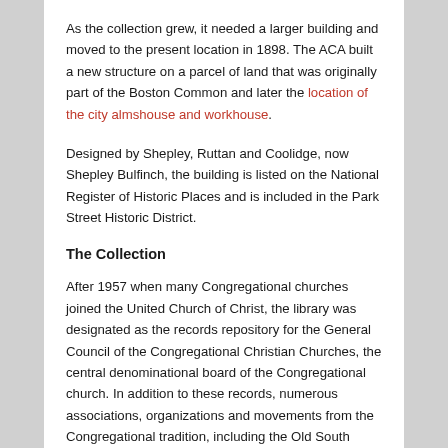As the collection grew, it needed a larger building and moved to the present location in 1898. The ACA built a new structure on a parcel of land that was originally part of the Boston Common and later the location of the city almshouse and workhouse.
Designed by Shepley, Ruttan and Coolidge, now Shepley Bulfinch, the building is listed on the National Register of Historic Places and is included in the Park Street Historic District.
The Collection
After 1957 when many Congregational churches joined the United Church of Christ, the library was designated as the records repository for the General Council of the Congregational Christian Churches, the central denominational board of the Congregational church. In addition to these records, numerous associations, organizations and movements from the Congregational tradition, including the Old South Church and the Park Street Church, gave their records to Congregational